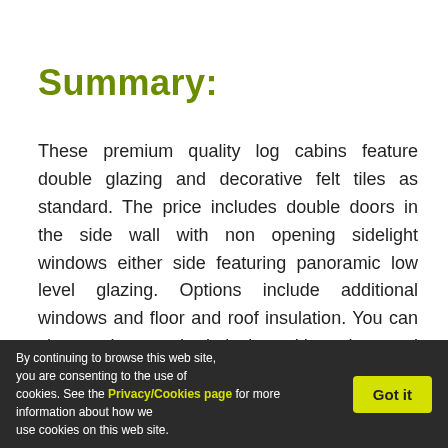Summary:
These premium quality log cabins feature double glazing and decorative felt tiles as standard. The price includes double doors in the side wall with non opening sidelight windows either side featuring panoramic low level glazing. Options include additional windows and floor and roof insulation. You can choose the standard design with a door and windows in the side wall or you can position the door and windows anywhere at the same price.
By continuing to browse this web site, you are consenting to the use of cookies. See the Privacy/Cookies page for more information about how we use cookies on this web site.